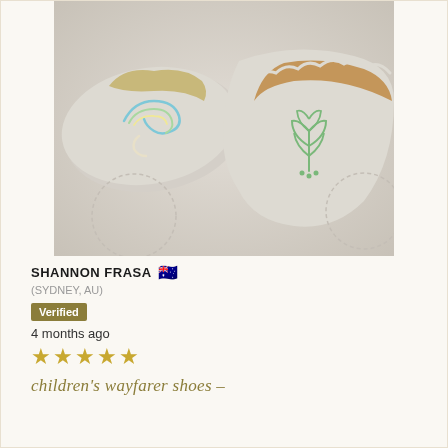[Figure (photo): Two soft leather baby moccasin shoes with embroidered botanical designs - one showing a rainbow/swirl pattern and one showing a leaf/branch motif, placed on a light grey fabric background]
SHANNON FRASA 🇦🇺
(SYDNEY, AU)
Verified
4 months ago
★★★★★
children's wayfarer shoes –